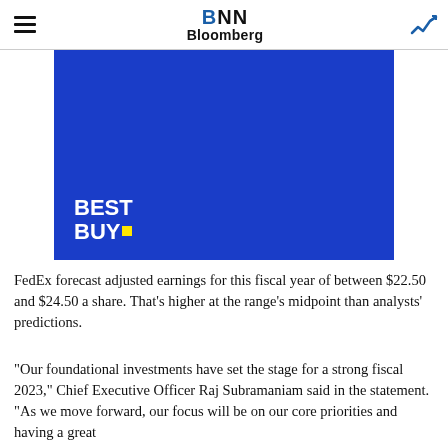BNN Bloomberg
[Figure (photo): Best Buy logo on solid blue background — a dark blue rectangle with 'BEST BUY' in large white bold text and a small yellow square dot.]
FedEx forecast adjusted earnings for this fiscal year of between $22.50 and $24.50 a share. That's higher at the range's midpoint than analysts' predictions.
“Our foundational investments have set the stage for a strong fiscal 2023,” Chief Executive Officer Raj Subramaniam said in the statement. “As we move forward, our focus will be on our core priorities and having a great...